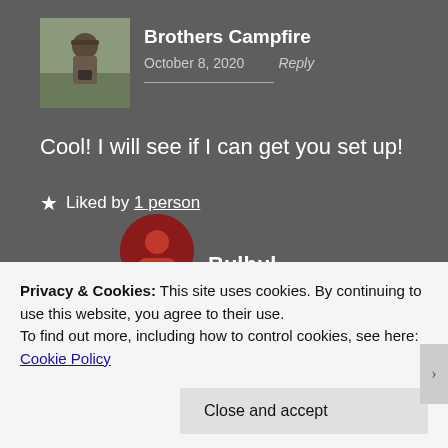[Figure (photo): Profile photo of Brothers Campfire - a man outdoors holding something]
Brothers Campfire
October 8, 2020   Reply
Cool! I will see if I can get you set up!
★ Liked by 1 person
[Figure (photo): Red circular avatar for second commenter]
Bulbul
Privacy & Cookies: This site uses cookies. By continuing to use this website, you agree to their use.
To find out more, including how to control cookies, see here: Cookie Policy
Close and accept